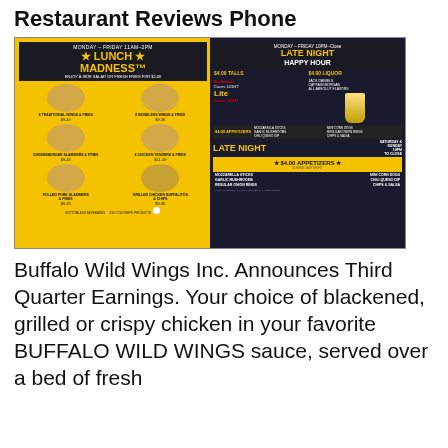Restaurant Reviews Phone
[Figure (photo): Photo of a Buffalo Wild Wings menu board showing Lunch Madness (Monday-Friday 11am-2pm) on the left with food items including 6 Traditional Wings & Fries $9.49, 8 Boneless Wings & Fries $9.49, Cheeseburger Slammers & Fries $9.49, 4 Chicken Tenders & Fries $11.49, Pulled Pork Slammers & Fries $9.49, Grilled Chicken Buffalitos & Chips $9.49; and Late Night Happy Hour (Monday-Friday 10pm-Close) on the right with $4.00 Talls, $4.00 Liquor, $4.00 Appetizers including Mozzarella Sticks, Garlic Mushrooms, Regular Onion Rings, Mini Corn Dogs, Chili Queso Dip, Chips & Salsa; also showing Saturday & Sunday 10pm to Close Late Night $4.00 Appetizers.]
Buffalo Wild Wings Inc. Announces Third Quarter Earnings. Your choice of blackened, grilled or crispy chicken in your favorite BUFFALO WILD WINGS sauce, served over a bed of fresh